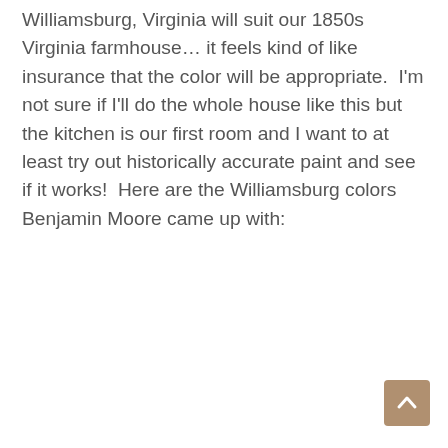Williamsburg, Virginia will suit our 1850s Virginia farmhouse… it feels kind of like insurance that the color will be appropriate.  I'm not sure if I'll do the whole house like this but the kitchen is our first room and I want to at least try out historically accurate paint and see if it works!  Here are the Williamsburg colors Benjamin Moore came up with:
[Figure (other): A small square back-to-top button with a tan/brown background and an upward-pointing chevron arrow icon]